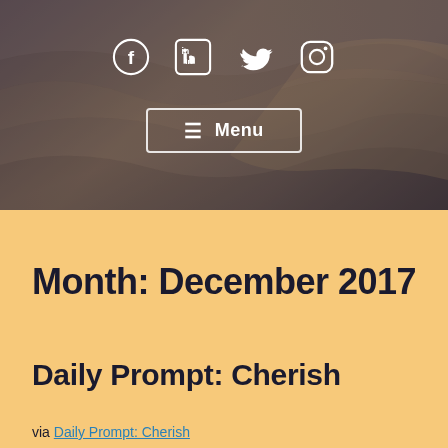[Figure (photo): Dark moody ocean waves background photo used as hero image header]
Social media icons: Facebook, LinkedIn, Twitter, Instagram
☰ Menu
Month: December 2017
Daily Prompt: Cherish
via Daily Prompt: Cherish